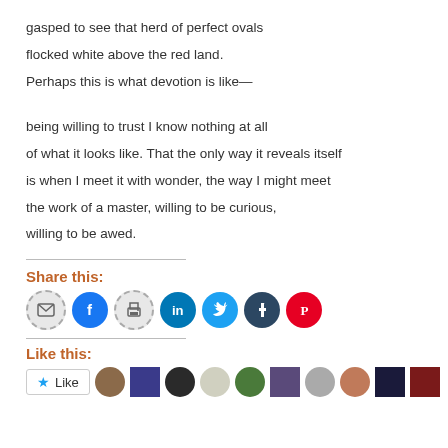gasped to see that herd of perfect ovals
flocked white above the red land.
Perhaps this is what devotion is like—
being willing to trust I know nothing at all
of what it looks like. That the only way it reveals itself
is when I meet it with wonder, the way I might meet
the work of a master, willing to be curious,
willing to be awed.
Share this:
[Figure (infographic): Row of social sharing icon buttons: email, facebook, print, linkedin, twitter, tumblr, pinterest]
Like this:
[Figure (infographic): Like button and row of avatar thumbnails]